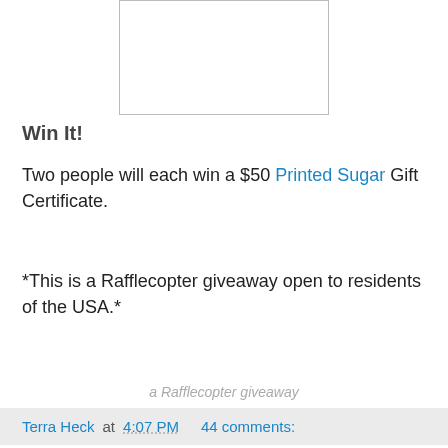[Figure (other): White rectangle image placeholder with gray border, centered at top of page]
Win It!
Two people will each win a $50 Printed Sugar Gift Certificate.
*This is a Rafflecopter giveaway open to residents of the USA.*
a Rafflecopter giveaway
Terra Heck at 4:07 PM   44 comments: